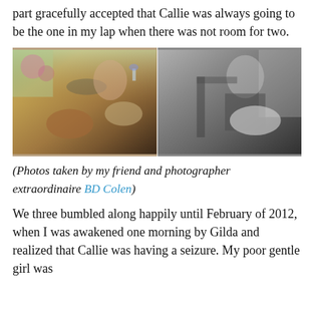part gracefully accepted that Callie was always going to be the one in my lap when there was not room for two.
[Figure (photo): Two side-by-side photos: left is a color photo of a smiling woman holding a glass of wine outdoors with two Cavalier King Charles Spaniels; right is a black-and-white photo of a woman smiling indoors with a Cavalier King Charles Spaniel.]
(Photos taken by my friend and photographer extraordinaire BD Colen)
We three bumbled along happily until February of 2012, when I was awakened one morning by Gilda and realized that Callie was having a seizure. My poor gentle girl was